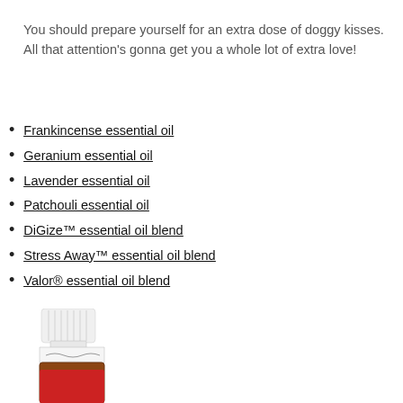You should prepare yourself for an extra dose of doggy kisses. All that attention's gonna get you a whole lot of extra love!
Frankincense essential oil
Geranium essential oil
Lavender essential oil
Patchouli essential oil
DiGize™ essential oil blend
Stress Away™ essential oil blend
Valor® essential oil blend
[Figure (photo): An essential oil bottle with a white ribbed cap and amber/brown glass body with a red label, partially visible at the bottom of the page.]